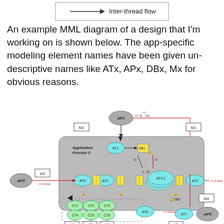[Figure (engineering-diagram): Legend snippet showing Inter-thread flow arrow symbol in a box]
An example MML diagram of a design that I'm working on is shown below. The app-specific modeling element names have been given un-descriptive names like ATx, APx, DBx, Mx for obvious reasons.
[Figure (engineering-diagram): MML diagram showing Application Process 0 with active threads AT1-AT7, databases DB1-DB2, application processes AP1-AP3, controller threads CT1-CT6, and message queues M1-M8 connected by inter-thread flow arrows with frequency annotations such as <= N+1 Hz, <= 4 KHz]